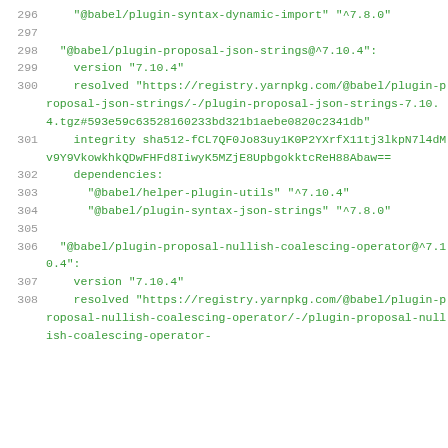296    "@babel/plugin-syntax-dynamic-import" "^7.8.0"
297
298  "@babel/plugin-proposal-json-strings@^7.10.4":
299    version "7.10.4"
300    resolved "https://registry.yarnpkg.com/@babel/plugin-proposal-json-strings/-/plugin-proposal-json-strings-7.10.4.tgz#593e59c63528160233bd321b1aebe0820c2341db"
301    integrity sha512-fCL7QF0Jo83uy1K0P2YXrfX11tj3lkpN7l4dMv9Y9VkowkhkQDwFHFd8IiwyK5MZjE8UpbgokktcReH88Abaw==
302    dependencies:
303      "@babel/helper-plugin-utils" "^7.10.4"
304      "@babel/plugin-syntax-json-strings" "^7.8.0"
305
306  "@babel/plugin-proposal-nullish-coalescing-operator@^7.10.4":
307    version "7.10.4"
308    resolved "https://registry.yarnpkg.com/@babel/plugin-proposal-nullish-coalescing-operator/-/plugin-proposal-nullish-coalescing-operator-